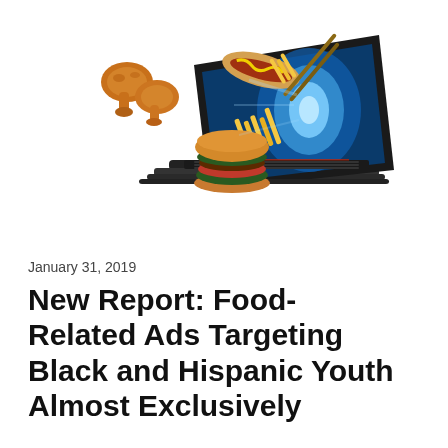[Figure (illustration): A laptop computer with various fast food items (fried chicken pieces, hot dog, french fries, burger) appearing to fly out of the screen in a 3D effect against a white background.]
January 31, 2019
New Report: Food-Related Ads Targeting Black and Hispanic Youth Almost Exclusively